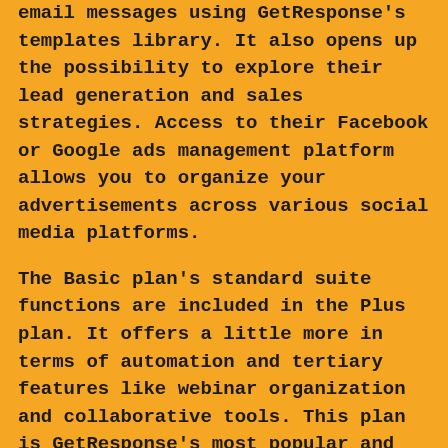email messages using GetResponse's templates library. It also opens up the possibility to explore their lead generation and sales strategies. Access to their Facebook or Google ads management platform allows you to organize your advertisements across various social media platforms.
The Basic plan's standard suite functions are included in the Plus plan. It offers a little more in terms of automation and tertiary features like webinar organization and collaborative tools. This plan is GetResponse's most popular and costs $49 per month for 1,000 subscribers. It also comes at its most affordable price.
GetResponse's professional plan is for entrepreneurs and business owners. It offers complete automation, workflows, web push notifications, higher webinar